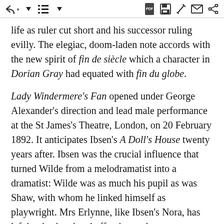[toolbar icons]
life as ruler cut short and his successor ruling evilly. The elegiac, doom-laden note accords with the new spirit of fin de siècle which a character in Dorian Gray had equated with fin du globe.
Lady Windermere's Fan opened under George Alexander's direction and lead male performance at the St James's Theatre, London, on 20 February 1892. It anticipates Ibsen's A Doll's House twenty years after. Ibsen was the crucial influence that turned Wilde from a melodramatist into a dramatist: Wilde was as much his pupil as was Shaw, with whom he linked himself as playwright. Mrs Erlynne, like Ibsen's Nora, has left her husband and offspring and returns to blackmail Lord Windermere...